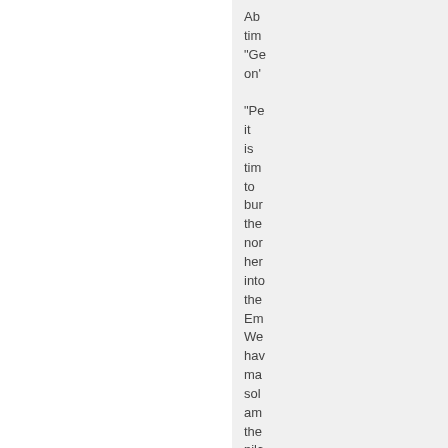Ab tim "Ge on' "Pe it is tim to bur the nor her into the Em We hav ma sol am the pilc ha